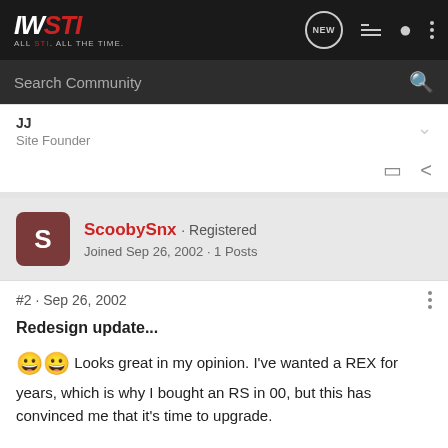[Figure (logo): IWSTI logo — white IW and red STI in italic bold, tagline ALL STI. ALL THE TIME. in small gray text below]
[Figure (screenshot): Navigation bar icons: NEW speech bubble, list icon, person icon, three-dot menu]
Search Community
JJ
Site Founder
ScoobySnx · Registered
Joined Sep 26, 2002 · 1 Posts
#2 · Sep 26, 2002
Redesign update...
😀😀 Looks great in my opinion. I've wanted a REX for years, which is why I bought an RS in 00, but this has convinced me that it's time to upgrade.